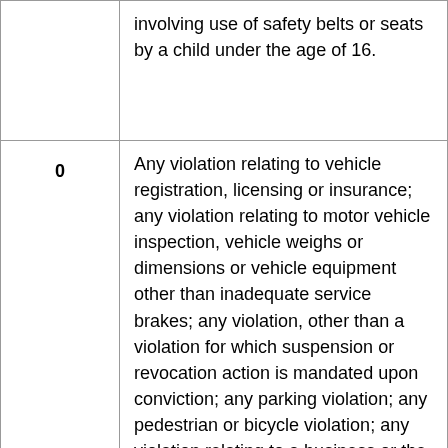| Points | Description |
| --- | --- |
|  | involving use of safety belts or seats by a child under the age of 16. |
| 0 | Any violation relating to vehicle registration, licensing or insurance; any violation relating to motor vehicle inspection, vehicle weighs or dimensions or vehicle equipment other than inadequate service brakes; any violation, other than a violation for which suspension or revocation action is mandated upon conviction; any parking violation; any pedestrian or bicycle violation; any violation relating to a business or the sale of goods established in the Vehicle and Traffic Law or any local law; any violation not resulting from the |